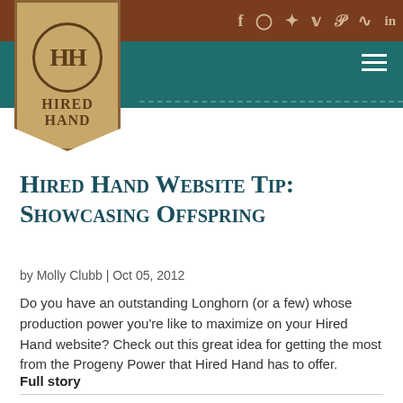[Figure (screenshot): Hired Hand website header with logo badge, social media icons, teal navigation bar, and hamburger menu]
Hired Hand Website Tip: Showcasing Offspring
by Molly Clubb | Oct 05, 2012
Do you have an outstanding Longhorn (or a few) whose production power you’re like to maximize on your Hired Hand website? Check out this great idea for getting the most from the Progeny Power that Hired Hand has to offer.
Full story